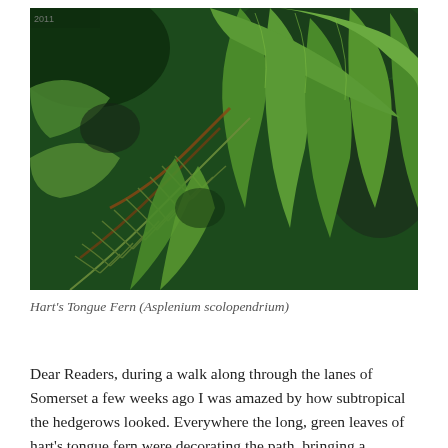[Figure (photo): Close-up photograph of lush green ferns and broad-leafed plants including Hart's Tongue Fern (Asplenium scolopendrium) in a hedgerow, showing dense tropical-looking foliage.]
Hart's Tongue Fern (Asplenium scolopendrium)
Dear Readers, during a walk along through the lanes of Somerset a few weeks ago I was amazed by how subtropical the hedgerows looked. Everywhere the long, green leaves of hart's tongue fern were decorating the path, bringing a welcome touch of shiny emerald enthusiasm to the otherwise browning foliage. A field of snowdrops didn't go